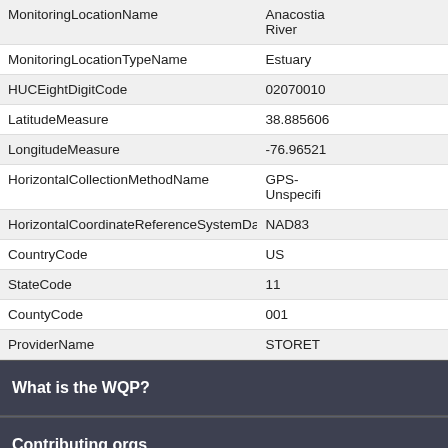| Field | Value |
| --- | --- |
| MonitoringLocationName | Anacostia River |
| MonitoringLocationTypeName | Estuary |
| HUCEightDigitCode | 02070010 |
| LatitudeMeasure | 38.885606 |
| LongitudeMeasure | -76.965210 |
| HorizontalCollectionMethodName | GPS-Unspecifi |
| HorizontalCoordinateReferenceSystemDatumName | NAD83 |
| CountryCode | US |
| StateCode | 11 |
| CountyCode | 001 |
| ProviderName | STORET |
What is the WQP?
Contributing orgs
Apps using the WQP